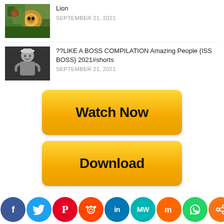Lion
SEPTEMBER 21, 2021
??LIKE A BOSS COMPILATION Amazing People {ISS BOSS} 2021#shorts
SEPTEMBER 21, 2021
[Figure (other): Watch Now button - gold/yellow rounded rectangle button]
[Figure (other): Download button - gold/yellow rounded rectangle button]
[Figure (other): Social media share bar with icons: Facebook, Twitter, Pinterest, Reddit, LinkedIn, MeWe, Mix, WhatsApp, Share]